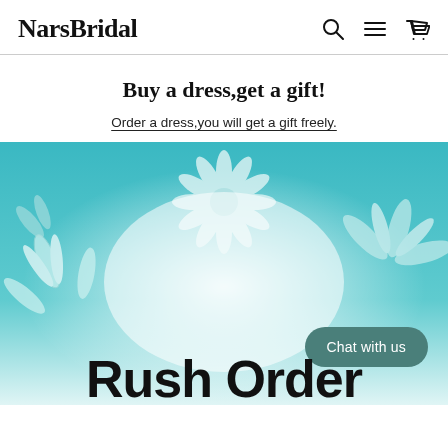NarsBridal
Buy a dress,get a gift!
Order a dress,you will get a gift freely.
[Figure (illustration): Teal/turquoise background with white floral designs (lilies, sunflowers), large bold text 'Rush Order' at the bottom, and a 'Chat with us' button overlay.]